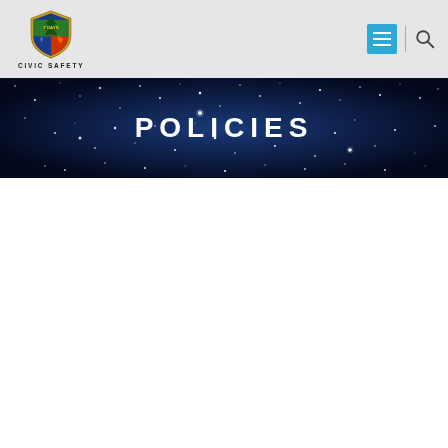[Figure (logo): 7 Days Civic Safety shield logo with tree, fire, and water droplet icons, with text CIVIC SAFETY below]
[Figure (screenshot): Navigation header with hamburger menu button in blue and search icon]
POLICIES
[Figure (photo): Dark blue starry night sky background banner behind the POLICIES title]